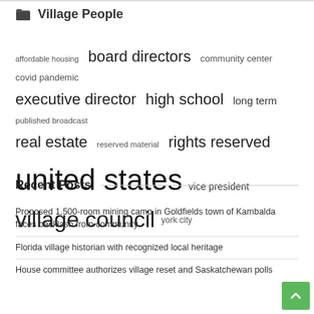Village People
[Figure (infographic): Tag cloud with terms of varying font sizes: affordable housing (small), board directors (large), community center (medium), covid pandemic (medium), executive director (large), high school (large), long term (medium), published broadcast (small), real estate (large), reserved material (small), rights reserved (large), united states (extra large), vice president (medium), village council (extra large), york city (small)]
Recent Posts
Proposed 1,500-room mining camp in Goldfields town of Kambalda faces backlash from community
Florida village historian with recognized local heritage
House committee authorizes village reset and Saskatchewan polls